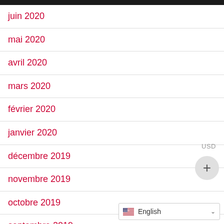juin 2020
mai 2020
avril 2020
mars 2020
février 2020
janvier 2020
décembre 2019
novembre 2019
octobre 2019
septembre 2019
août 2019